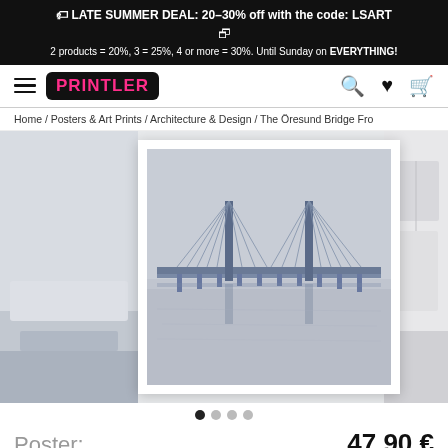🏷 LATE SUMMER DEAL: 20-30% off with the code: LSART
2 products = 20%, 3 = 25%, 4 or more = 30%. Until Sunday on EVERYTHING!
[Figure (logo): Printler logo in pink text on dark background, navigation bar with hamburger menu, search, heart, and cart icons]
Home / Posters & Art Prints / Architecture & Design / The Öresund Bridge Fro
[Figure (photo): Öresund Bridge cable-stayed bridge photograph in muted grey-blue tones, reflected in still water, framed as a poster with white border, shown in a carousel with partial room preview images on both sides]
Poster:
47,90 €